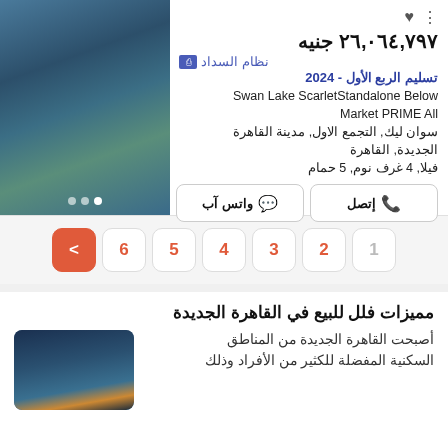٢٦,٠٦٤,٧٩٧ جنيه
نظام السداد
تسليم الربع الأول - 2024
Swan Lake ScarletStandalone Below Market PRIME All
سوان ليك, التجمع الاول, مدينة القاهرة الجديدة, القاهرة
فيلا, 4 غرف نوم, 5 حمام
[Figure (photo): Luxury villa with pool exterior night view]
إتصل
واتس آب
1
2
3
4
5
6
مميزات فلل للبيع في القاهرة الجديدة
[Figure (photo): Luxury villa exterior night lighting thumbnail]
أصبحت القاهرة الجديدة من المناطق السكنية المفضلة للكثير من الأفراد وذلك